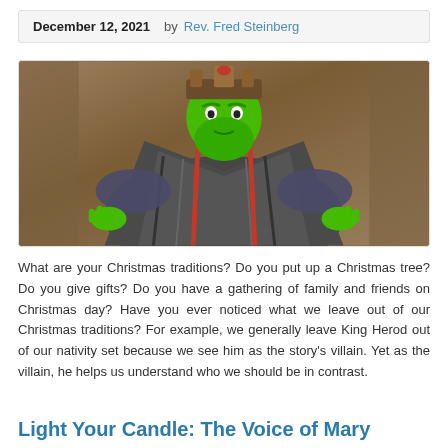December 12, 2021   by Rev. Fred Steinberg
[Figure (photo): A theatrical figure dressed as King Herod in royal robes with a green face and green beard, sitting on a throne in a stone hall setting.]
What are your Christmas traditions? Do you put up a Christmas tree? Do you give gifts? Do you have a gathering of family and friends on Christmas day? Have you ever noticed what we leave out of our Christmas traditions? For example, we generally leave King Herod out of our nativity set because we see him as the story's villain. Yet as the villain, he helps us understand who we should be in contrast.
Light Your Candle: The Voice of Mary